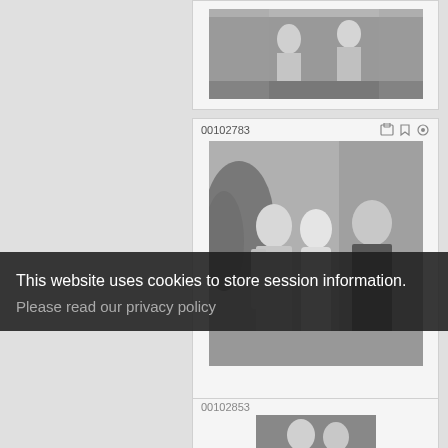[Figure (photo): Black and white photograph of people on a stage, partially visible at top of page]
00102783
[Figure (photo): Black and white photograph of three people on stage: a man in a suit on the left laughing, a woman in a white dress in the center, and a larger man in dark clothing on the right]
This website uses cookies to store session information.
Please read our privacy policy
[Figure (photo): Black and white photograph partially visible at bottom of page showing faces]